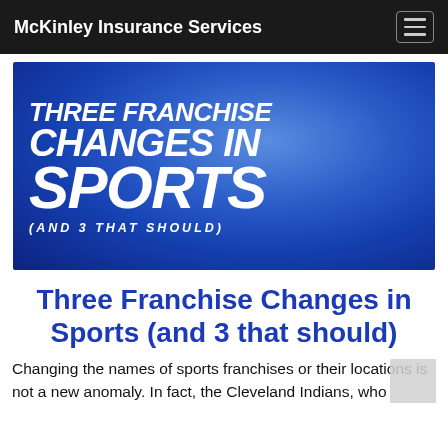McKinley Insurance Services
[Figure (illustration): Blue gradient background with large bold italic white text reading: THREE FRANCHISE CHANGES IN SPORTS (AND 3 THAT SHOULD)]
Three Franchise Changes in Sports (and 3 that should)
Changing the names of sports franchises or their locations is not a new anomaly. In fact, the Cleveland Indians, who